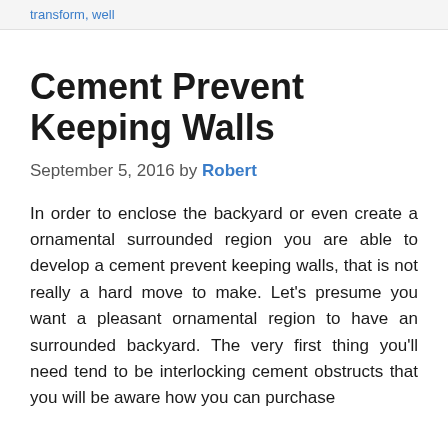transform, well
Cement Prevent Keeping Walls
September 5, 2016 by Robert
In order to enclose the backyard or even create a ornamental surrounded region you are able to develop a cement prevent keeping walls, that is not really a hard move to make. Let's presume you want a pleasant ornamental region to have an surrounded backyard. The very first thing you'll need tend to be interlocking cement obstructs that you will be aware how you can purchase